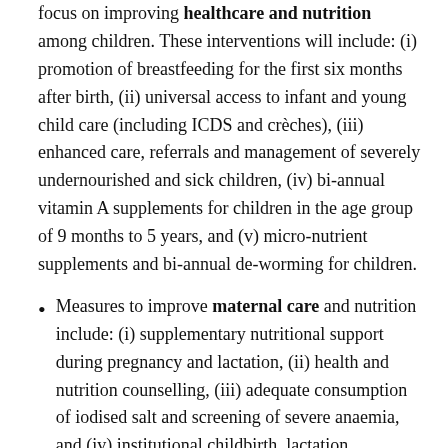focus on improving healthcare and nutrition among children. These interventions will include: (i) promotion of breastfeeding for the first six months after birth, (ii) universal access to infant and young child care (including ICDS and crèches), (iii) enhanced care, referrals and management of severely undernourished and sick children, (iv) bi-annual vitamin A supplements for children in the age group of 9 months to 5 years, and (v) micro-nutrient supplements and bi-annual de-worming for children.
Measures to improve maternal care and nutrition include: (i) supplementary nutritional support during pregnancy and lactation, (ii) health and nutrition counselling, (iii) adequate consumption of iodised salt and screening of severe anaemia, and (iv) institutional childbirth, lactation management and